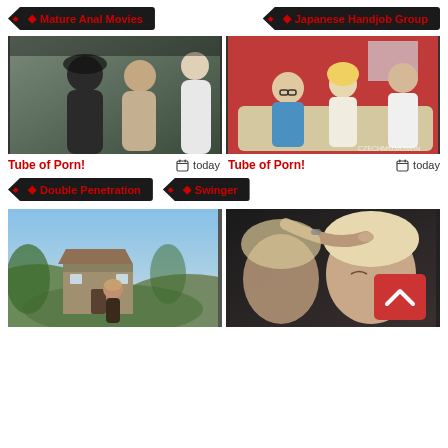Mature Anal Movies
Japanese Handjob Group
[Figure (photo): Two people kissing, man in white t-shirt and woman in beige top]
[Figure (photo): Group of people sitting on a couch, man in blue shirt with two women]
Tube of Porn! 📅 today
Tube of Porn! 📅 today
Double Penetration
Swinger
[Figure (photo): Person standing in front of a stone farmhouse with hills in background]
[Figure (photo): Close-up of two women, one touching the other's hair, with a red back-to-top button overlay]